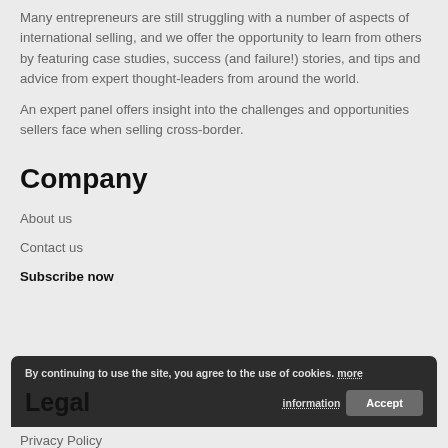Many entrepreneurs are still struggling with a number of aspects of international selling, and we offer the opportunity to learn from others by featuring case studies, success (and failure!) stories, and tips and advice from expert thought-leaders from around the world.
An expert panel offers insight into the challenges and opportunities sellers face when selling cross-border.
Company
About us
Contact us
Subscribe now
By continuing to use the site, you agree to the use of cookies. more information
Accept
Legal
Privacy Policy